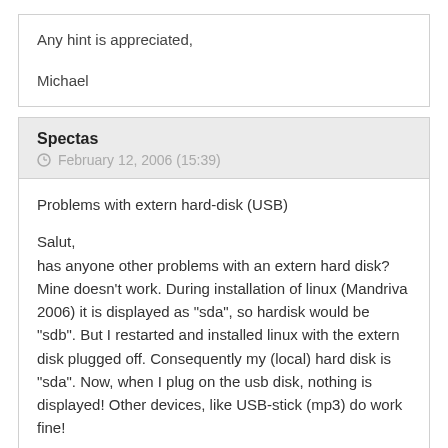Any hint is appreciated,

Michael
Spectas
February 12, 2006 (15:39)
Problems with extern hard-disk (USB)
Salut,
has anyone other problems with an extern hard disk? Mine doesn't work. During installation of linux (Mandriva 2006) it is displayed as "sda", so hardisk would be "sdb". But I restarted and installed linux with the extern disk plugged off. Consequently my (local) hard disk is "sda". Now, when I plug on the usb disk, nothing is displayed! Other devices, like USB-stick (mp3) do work fine!
Any ideas? Thank you very much!!! (Please protect me of